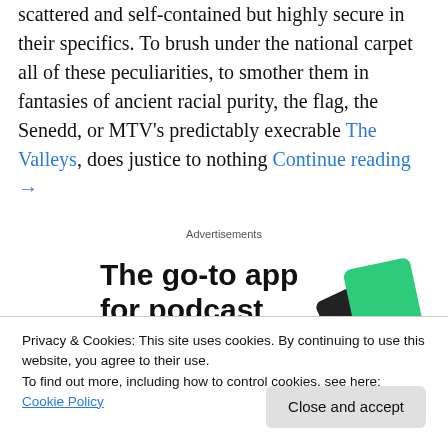scattered and self-contained but highly secure in their specifics. To brush under the national carpet all of these peculiarities, to smother them in fantasies of ancient racial purity, the flag, the Senedd, or MTV's predictably execrable The Valleys, does justice to nothing Continue reading →
Advertisements
[Figure (illustration): Advertisement banner showing bold text 'The go-to app for podcast lovers' with decorative card graphics in dark and green colors on the right side.]
Privacy & Cookies: This site uses cookies. By continuing to use this website, you agree to their use.
To find out more, including how to control cookies, see here: Cookie Policy